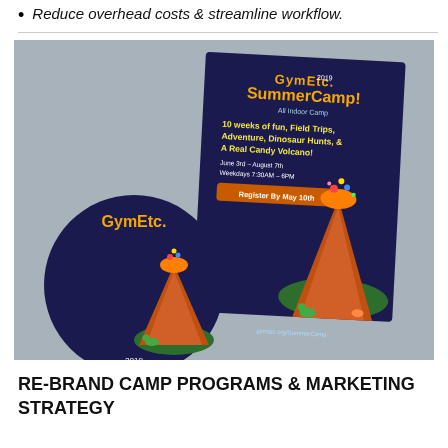Reduce overhead costs & streamline workflow.
[Figure (illustration): Marketing mockup for GymEtc. 2019 Summer Camp showing a flyer and a circular logo badge. The flyer features a candy volcano cartoon graphic with text: '10 weeks of fun, Field Trips, Adventure, Dinosaur Hunts, & A Real Candy Volcano! June 3rd – August 7th, Weekdays 7:30AM – 6PM, Register By May 10th, gymetc.org/SummerCamp'. The circular badge shows the GymEtc. SummerCamp 2019 logo with a cartoon volcano.]
RE-BRAND CAMP PROGRAMS & MARKETING STRATEGY